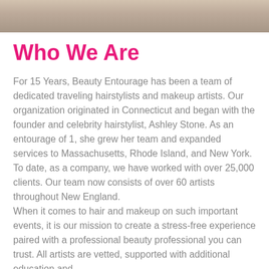[Figure (photo): Partial photo strip at top of page showing a blurred background scene, appears to be an indoor setting.]
Who We Are
For 15 Years, Beauty Entourage has been a team of dedicated traveling hairstylists and makeup artists. Our organization originated in Connecticut and began with the founder and celebrity hairstylist, Ashley Stone. As an entourage of 1, she grew her team and expanded services to Massachusetts, Rhode Island, and New York. To date, as a company, we have worked with over 25,000 clients. Our team now consists of over 60 artists throughout New England.
When it comes to hair and makeup on such important events, it is our mission to create a stress-free experience paired with a professional beauty professional you can trust. All artists are vetted, supported with additional education and